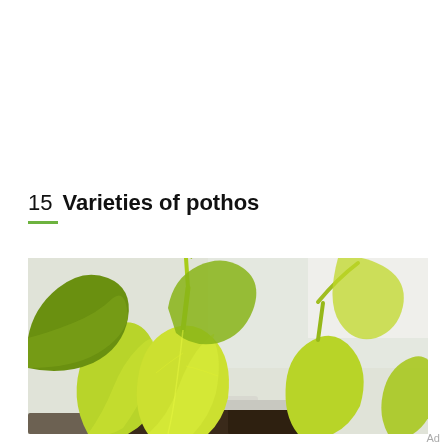15  Varieties of pothos
[Figure (photo): Close-up photo of bright yellow-green pothos plant leaves with heart-shaped leaves in a white pot with soil visible at the bottom, against a light background.]
Ad